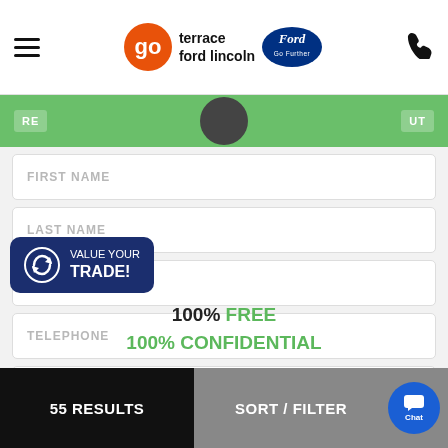go terrace ford lincoln — Go Further
[Figure (screenshot): Partial green banner with form elements showing RE... and UT text]
FIRST NAME
LAST NAME
EMAIL
TELEPHONE
BIRTHDATE
ADDRESS
[Figure (infographic): VALUE YOUR TRADE! button with circular arrow icon on dark blue background]
100% FREE
100% CONFIDENTIAL
55 RESULTS    SORT / FILTER    Chat